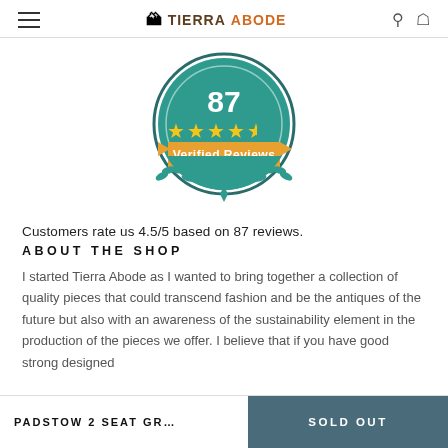TIERRA ABODE
[Figure (infographic): Teal circular badge showing '87' in large white text, four and a half yellow stars, and an orange/gold ribbon banner with 'Verified Reviews' text, with decorative teal laurel leaves at the bottom]
Customers rate us 4.5/5 based on 87 reviews.
ABOUT THE SHOP
I started Tierra Abode as I wanted to bring together a collection of quality pieces that could transcend fashion and be the antiques of the future but also with an awareness of the sustainability element in the production of the pieces we offer. I believe that if you have good strong designed
PADSTOW 2 SEAT GR… | SOLD OUT